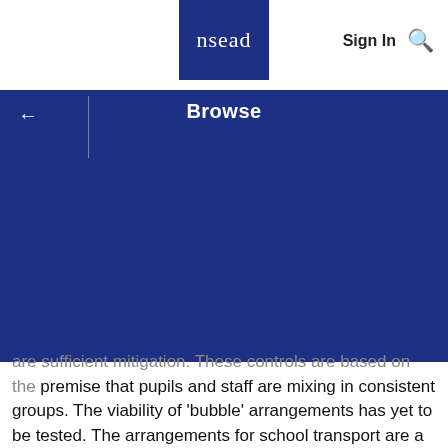[Figure (logo): NSEAD logo — white lowercase 'nsead' text on dark blue square background]
Sign In 🔍
Browse
are sufficient mitigation. These controls are based on the premise that pupils and staff are mixing in consistent groups. The viability of 'bubble' arrangements has yet to be tested. The arrangements for school transport are a major weak point in this hierarchy of controls, as is the level of compliance amongst pupils beyond those areas managed by the school (i.e public transport, social